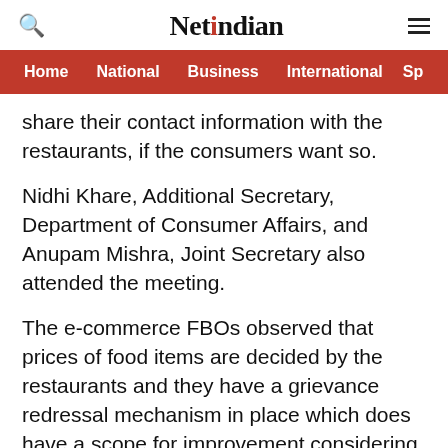NetIndian
Home  National  Business  International  Sp
share their contact information with the restaurants, if the consumers want so.
Nidhi Khare, Additional Secretary, Department of Consumer Affairs, and Anupam Mishra, Joint Secretary also attended the meeting.
The e-commerce FBOs observed that prices of food items are decided by the restaurants and they have a grievance redressal mechanism in place which does have a scope for improvement considering the number and nature of grievances registered by consumers.
During the meeting, stakeholders acknowledged the